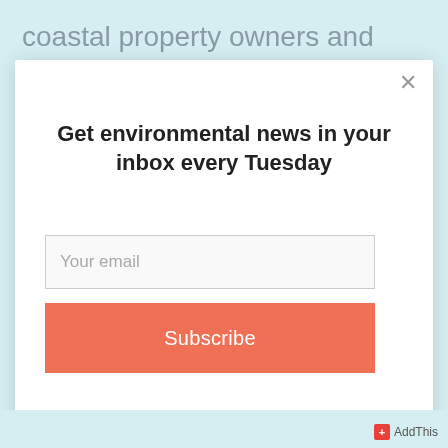coastal property owners and drive down property values, threatening a lucrative stream of revenue for
Get environmental news in your inbox every Tuesday
Your email
Subscribe
AddThis